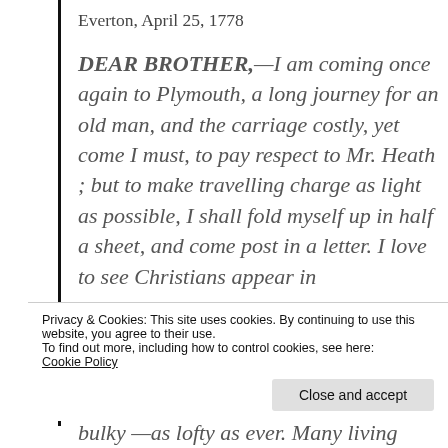Everton, April 25, 1778
DEAR BROTHER,—I am coming once again to Plymouth, a long journey for an old man, and the carriage costly, yet come I must, to pay respect to Mr. Heath ; but to make travelling charge as light as possible, I shall fold myself up in half a sheet, and come post in a letter. I love to see Christians appear in
Privacy & Cookies: This site uses cookies. By continuing to use this website, you agree to their use.
To find out more, including how to control cookies, see here:
Cookie Policy
Close and accept
bulky —as lofty as ever. Many living